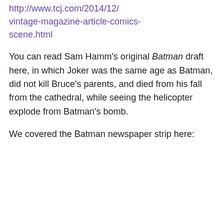http://www.tcj.com/2014/12/vintage-magazine-article-comics-scene.html
You can read Sam Hamm's original Batman draft here, in which Joker was the same age as Batman, did not kill Bruce's parents, and died from his fall from the cathedral, while seeing the helicopter explode from Batman's bomb.
We covered the Batman newspaper strip here: